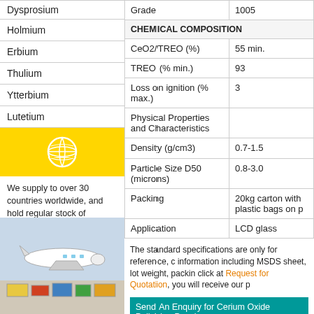Dysprosium
Holmium
Erbium
Thulium
Ytterbium
Lutetium
[Figure (illustration): Yellow globe/world icon]
We supply to over 30 countries worldwide, and hold regular stock of common Rare Earth oxides, metals & compounds. For research and samples, we offer prompt delivery to USA, Japan, Korea and fast delivery for the EU & rest of the world.
[Figure (photo): Airplane and cargo image]
| Property | Value |
| --- | --- |
| Grade | 1005 |
| CHEMICAL COMPOSITION |  |
| CeO2/TREO (%) | 55 min. |
| TREO (% min.) | 93 |
| Loss on ignition (% max.) | 3 |
| Physical Properties and Characteristics |  |
| Density (g/cm3) | 0.7-1.5 |
| Particle Size D50 (microns) | 0.8-3.0 |
| Packing | 20kg carton with plastic bags on p |
| Application | LCD glass |
The standard specifications are only for reference, c information including MSDS sheet, lot weight, packin click at Request for Quotation, you will receive our p
Send An Enquiry for Cerium Oxide Polishing Powd
Related Rare Earth products
Cerium Oxide Polishing Powder, highlight, facts and Cerium Oxide Polishing Powder 1005